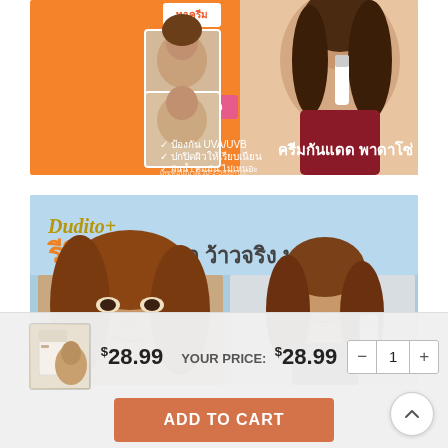[Figure (photo): Thai skincare product advertisement banner with orange background, showing before/after photos of a woman applying sunscreen cream, Thai text listing product benefits (ป้องกัน UVA/UVB, ปกปิดผิวให้เรียบเนียน, กันน้ำ คุมมัน ไม่เหนอะ), and brand name ครีมกันแดด พาดาโซ่]
[Figure (photo): Review banner for Dudito+ brand skincare product, with text รีวิว เห็นผล ว้าวจริง บอกต่อ! and two close-up photos of Thai women showing their skin]
$28.99
YOUR PRICE: $28.99
1
ADD TO CART